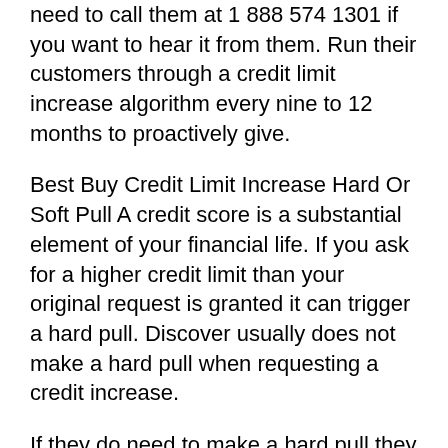need to call them at 1 888 574 1301 if you want to hear it from them. Run their customers through a credit limit increase algorithm every nine to 12 months to proactively give.
Best Buy Credit Limit Increase Hard Or Soft Pull A credit score is a substantial element of your financial life. If you ask for a higher credit limit than your original request is granted it can trigger a hard pull. Discover usually does not make a hard pull when requesting a credit increase.
If they do need to make a hard pull they will notify you. Also you might be at more of a risk of getting hard pull Here are some data points to give you an idea of what to expect